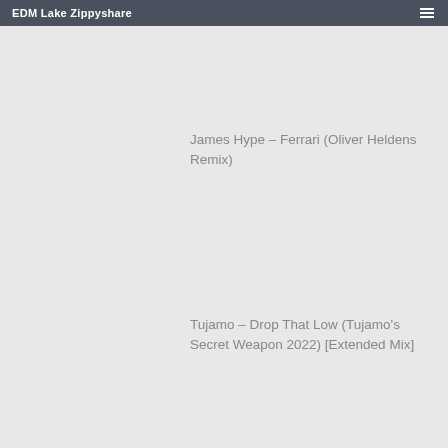EDM Lake Zippyshare
James Hype – Ferrari (Oliver Heldens Remix)
Tujamo – Drop That Low (Tujamo's Secret Weapon 2022) [Extended Mix]